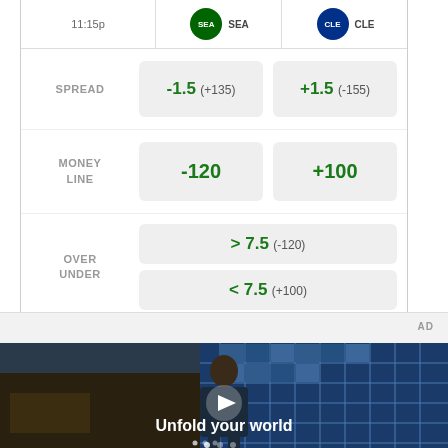|  | SEA | CLE |
| --- | --- | --- |
| SPREAD | -1.5 (+135) | +1.5 (-155) |
| MONEY LINE | -120 | +100 |
| OVER UNDER | > 7.5 (-120) / < 7.5 (+100) |  |
Odds/Lines subject to change. See draftkings.com for details.
[Figure (photo): Advertisement video thumbnail showing a young man standing in front of a building with blue glass windows. Text overlay reads 'Unfold your world' with a play button icon.]